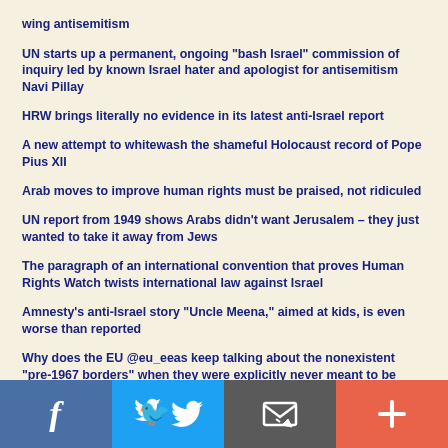wing antisemitism
UN starts up a permanent, ongoing "bash Israel" commission of inquiry led by known Israel hater and apologist for antisemitism Navi Pillay
HRW brings literally no evidence in its latest anti-Israel report
A new attempt to whitewash the shameful Holocaust record of Pope Pius XII
Arab moves to improve human rights must be praised, not ridiculed
UN report from 1949 shows Arabs didn't want Jerusalem – they just wanted to take it away from Jews
The paragraph of an international convention that proves Human Rights Watch twists international law against Israel
Amnesty's anti-Israel story "Uncle Meena," aimed at kids, is even worse than reported
Why does the EU @eu_eeas keep talking about the nonexistent "pre-1967 borders" when they were explicitly never meant to be borders?
[Figure (infographic): Social sharing bar with four buttons: Facebook (blue), Twitter (light blue), Email/envelope (dark gray), Plus/more (orange-red)]